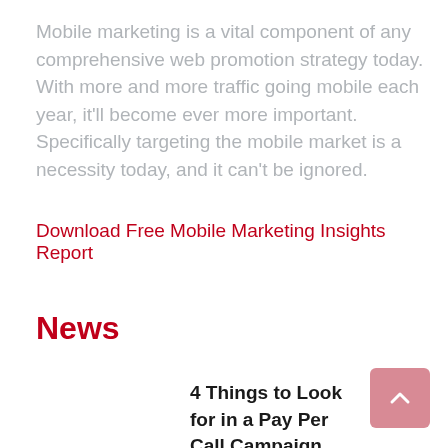Mobile marketing is a vital component of any comprehensive web promotion strategy today. With more and more traffic going mobile each year, it'll become ever more important. Specifically targeting the mobile market is a necessity today, and it can't be ignored.
Download Free Mobile Marketing Insights Report
News
4 Things to Look for in a Pay Per Call Campaign